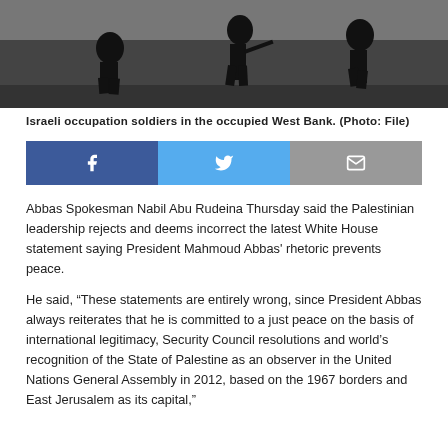[Figure (photo): Black and white photo of Israeli occupation soldiers in the occupied West Bank, showing silhouettes of figures walking]
Israeli occupation soldiers in the occupied West Bank. (Photo: File)
[Figure (infographic): Social media share buttons: Facebook (blue), Twitter (light blue), Email (grey)]
Abbas Spokesman Nabil Abu Rudeina Thursday said the Palestinian leadership rejects and deems incorrect the latest White House statement saying President Mahmoud Abbas' rhetoric prevents peace.
He said, “These statements are entirely wrong, since President Abbas always reiterates that he is committed to a just peace on the basis of international legitimacy, Security Council resolutions and world’s recognition of the State of Palestine as an observer in the United Nations General Assembly in 2012, based on the 1967 borders and East Jerusalem as its capital,”